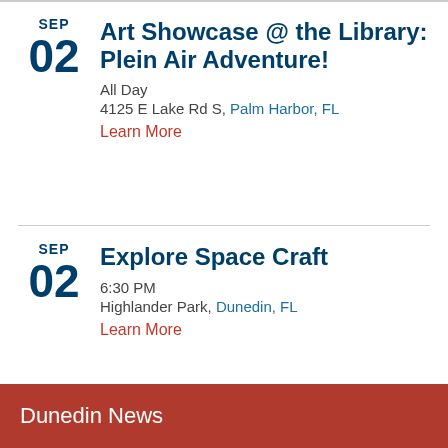SEP 02 Art Showcase @ the Library: Plein Air Adventure! All Day 4125 E Lake Rd S, Palm Harbor, FL Learn More
SEP 02 Explore Space Craft 6:30 PM Highlander Park, Dunedin, FL Learn More
Show More
Dunedin News